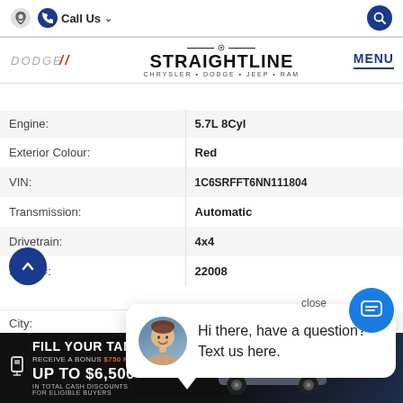Call Us | Search | Dodge Straightline Chrysler Dodge Jeep Ram | MENU
| Field | Value |
| --- | --- |
| Engine: | 5.7L 8Cyl |
| Exterior Colour: | Red |
| VIN: | 1C6SRFFT6NN111804 |
| Transmission: | Automatic |
| Drivetrain: | 4x4 |
| Stock #: | 22008 |
| City: |  |
Straightline Chrysler Dodge Jeep (address)
[Figure (screenshot): Chat popup with agent photo: Hi there, have a question? Text us here.]
[Figure (infographic): Bottom banner: FILL YOUR TANK! Receive a bonus $750 FUEL CARD! Up to $6,500 in total cash discounts for eligible buyers. RAM 1500 truck image.]